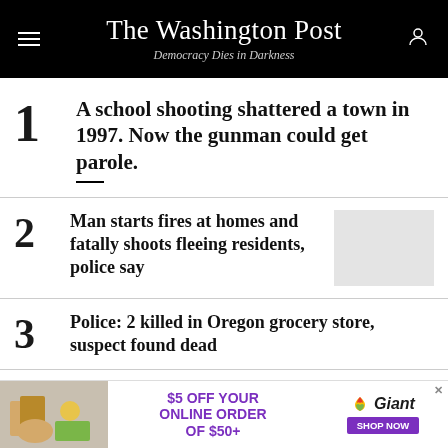The Washington Post — Democracy Dies in Darkness
1 A school shooting shattered a town in 1997. Now the gunman could get parole.
2 Man starts fires at homes and fatally shoots fleeing residents, police say
3 Police: 2 killed in Oregon grocery store, suspect found dead
4 Louisville jailer fired for video mocking police, Breonna Taylor killing
[Figure (other): Advertisement banner: Giant grocery store — $5 OFF YOUR ONLINE ORDER OF $50+ with SHOP NOW button]